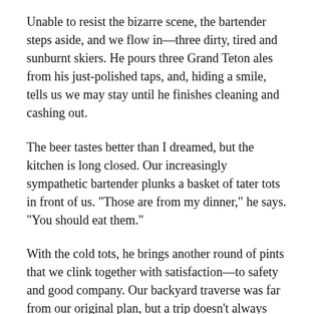Unable to resist the bizarre scene, the bartender steps aside, and we flow in—three dirty, tired and sunburnt skiers. He pours three Grand Teton ales from his just-polished taps, and, hiding a smile, tells us we may stay until he finishes cleaning and cashing out.
The beer tastes better than I dreamed, but the kitchen is long closed. Our increasingly sympathetic bartender plunks a basket of tater tots in front of us. “Those are from my dinner,” he says. “You should eat them.”
With the cold tots, he brings another round of pints that we clink together with satisfaction—to safety and good company. Our backyard traverse was far from our original plan, but a trip doesn’t always need to be far from home to be an adventure. And it doesn’t even need to go right to be perfect.
—
From March 7-8, join the editors of Backcountry